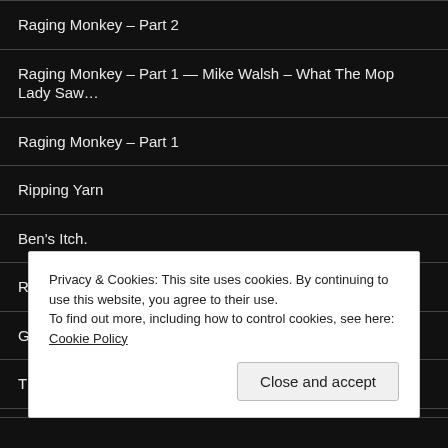Raging Monkey – Part 2
Raging Monkey – Part 1 — Mike Walsh – What The Mop Lady Saw…
Raging Monkey – Part 1
Ripping Yarn
Ben's Itch.
Razzle Dazzle
Great Balls Of Fire
The Fiddler Plays A Tune
Fiddler On The Balcony
Privacy & Cookies: This site uses cookies. By continuing to use this website, you agree to their use.
To find out more, including how to control cookies, see here: Cookie Policy
Close and accept